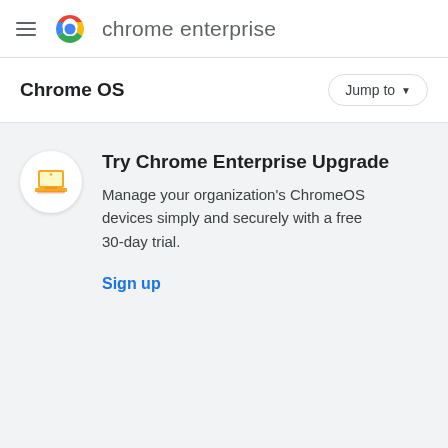chrome enterprise
Chrome OS
[Figure (infographic): Yellow laptop icon inside a white circle, representing Chrome Enterprise Upgrade]
Try Chrome Enterprise Upgrade
Manage your organization's ChromeOS devices simply and securely with a free 30-day trial.
Sign up